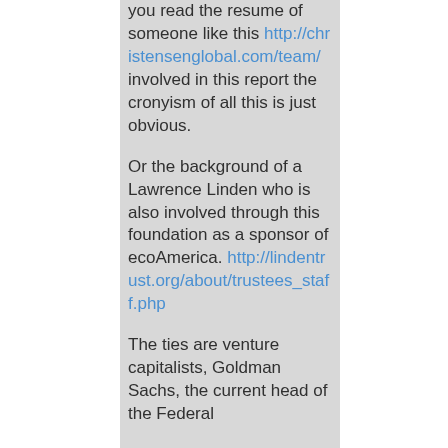you read the resume of someone like this http://christensenglobal.com/team/ involved in this report the cronyism of all this is just obvious.
Or the background of a Lawrence Linden who is also involved through this foundation as a sponsor of ecoAmerica. http://lindentrust.org/about/trustees_staff.php
The ties are venture capitalists, Goldman Sachs, the current head of the Federal